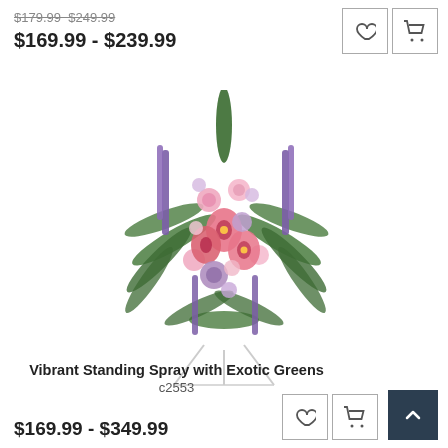$179.99  $249.99
$169.99 - $239.99
[Figure (photo): Vibrant standing spray floral arrangement with pink lilies, purple delphiniums, and exotic green ferns on a white easel stand]
Vibrant Standing Spray with Exotic Greens
c2553
$169.99 - $349.99